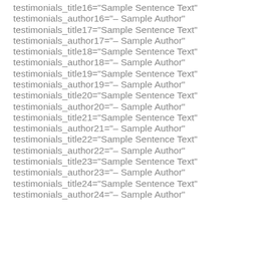testimonials_title16="Sample Sentence Text"
testimonials_author16="– Sample Author"
testimonials_title17="Sample Sentence Text"
testimonials_author17="– Sample Author"
testimonials_title18="Sample Sentence Text"
testimonials_author18="– Sample Author"
testimonials_title19="Sample Sentence Text"
testimonials_author19="– Sample Author"
testimonials_title20="Sample Sentence Text"
testimonials_author20="– Sample Author"
testimonials_title21="Sample Sentence Text"
testimonials_author21="– Sample Author"
testimonials_title22="Sample Sentence Text"
testimonials_author22="– Sample Author"
testimonials_title23="Sample Sentence Text"
testimonials_author23="– Sample Author"
testimonials_title24="Sample Sentence Text"
testimonials_author24="– Sample Author"